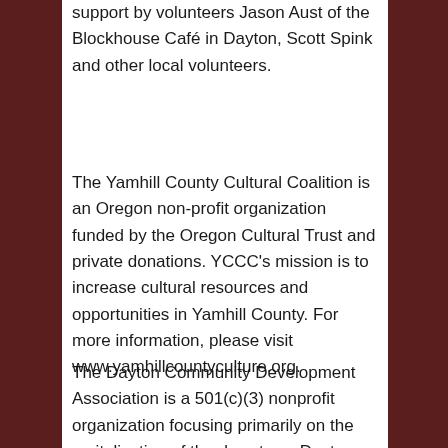support by volunteers Jason Aust of the Blockhouse Café in Dayton, Scott Spink and other local volunteers.
The Yamhill County Cultural Coalition is an Oregon non-profit organization funded by the Oregon Cultural Trust and private donations. YCCC's mission is to increase cultural resources and opportunities in Yamhill County. For more information, please visit www.yamhillcountyculture.org.
The Dayton Community Development Association is a 501(c)(3) nonprofit organization focusing primarily on the revitalization of the downtown Dayton area, and is made up of community members and businesses who volunteer their time. For more information, visit